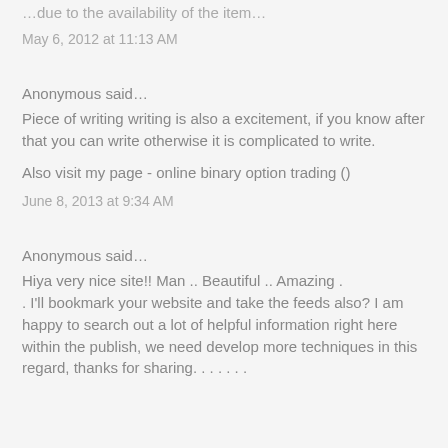…due to the availability of the item…
May 6, 2012 at 11:13 AM
Anonymous said…
Piece of writing writing is also a excitement, if you know after that you can write otherwise it is complicated to write.
Also visit my page - online binary option trading ()
June 8, 2013 at 9:34 AM
Anonymous said…
Hiya very nice site!! Man .. Beautiful .. Amazing . . I'll bookmark your website and take the feeds also? I am happy to search out a lot of helpful information right here within the publish, we need develop more techniques in this regard, thanks for sharing. . . . . . .